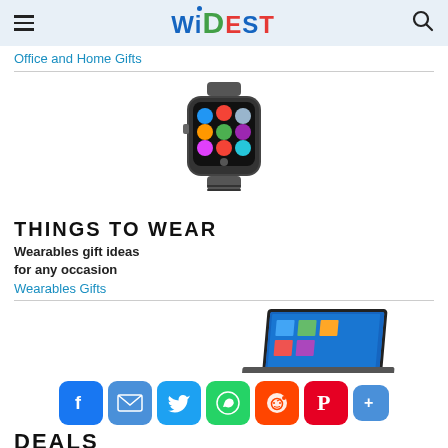WIDEST — hamburger menu + search icon
Office and Home Gifts
[Figure (photo): Smartwatch with colorful app icons on screen, silver/black case]
THINGS TO WEAR
Wearables gift ideas for any occasion
Wearables Gifts
[Figure (photo): Tablet/laptop hybrid device shown partially with Windows interface]
[Figure (infographic): Social sharing icons: Facebook, Email, Twitter, WhatsApp, Reddit, Pinterest, plus more button]
DEALS